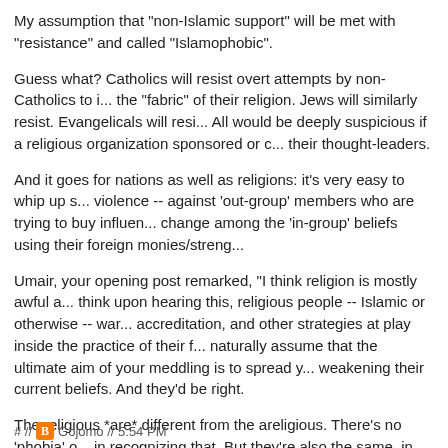My assumption that "non-Islamic support" will be met with "resistance" and called "Islamophobic".
Guess what? Catholics will resist overt attempts by non-Catholics to influence the "fabric" of their religion. Jews will similarly resist. Evangelicals will resist. All would be deeply suspicious if a religious organization sponsored or co-opted their thought-leaders.
And it goes for nations as well as religions: it's very easy to whip up suspicion -- or violence -- against 'out-group' members who are trying to buy influence or bring about change among the 'in-group' beliefs using their foreign monies/strengths.
Umair, your opening post remarked, "I think religion is mostly awful a..." What do you think upon hearing this, religious people -- Islamic or otherwise -- want to co-opt accreditation, and other strategies at play inside the practice of their faith? They'll naturally assume that the ultimate aim of your meddling is to spread your influence by weakening their current beliefs. And they'd be right.
The religious *are* different from the areligious. There's no 'phobia' or irrationality in recognizing that. But they're also the same, in their distrust of med...
Perhaps you need to stop thinking like a cosmopolitan atheist materia...
# // Gojomo // 5:54 PM